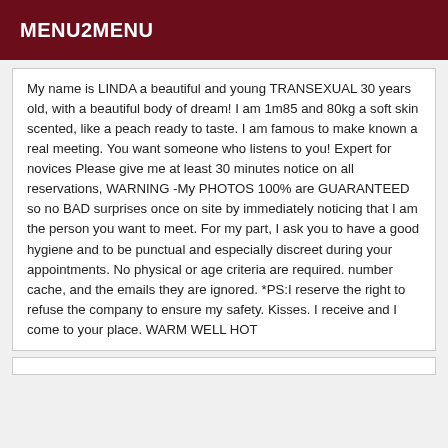MENU2MENU
My name is LINDA a beautiful and young TRANSEXUAL 30 years old, with a beautiful body of dream! I am 1m85 and 80kg a soft skin scented, like a peach ready to taste. I am famous to make known a real meeting. You want someone who listens to you! Expert for novices Please give me at least 30 minutes notice on all reservations, WARNING -My PHOTOS 100% are GUARANTEED so no BAD surprises once on site by immediately noticing that I am the person you want to meet. For my part, I ask you to have a good hygiene and to be punctual and especially discreet during your appointments. No physical or age criteria are required. number cache, and the emails they are ignored. *PS:I reserve the right to refuse the company to ensure my safety. Kisses. I receive and I come to your place. WARM WELL HOT